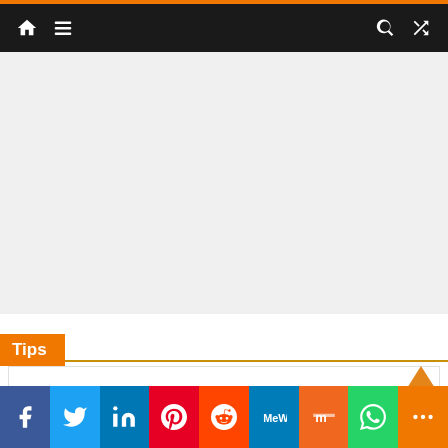Navigation bar with home, menu, search, and shuffle icons
[Figure (other): Gray content/advertisement area]
Tips
[Figure (other): Tips content card area]
Social share bar: Facebook, Twitter, LinkedIn, Pinterest, Reddit, MeWe, Mix, WhatsApp, More